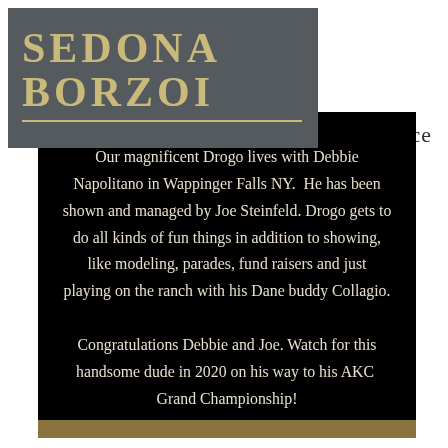SEDONA BORZOI
nd Ice
Our magnificent Drogo lives with Debbie Napolitano in Wappinger Falls NY. He has been shown and managed by Joe Steinfeld. Drogo gets to do all kinds of fun things in addition to showing, like modeling, parades, fund raisers and just playing on the ranch with his Dane buddy Collagio. Congratulations Debbie and Joe. Watch for this handsome dude in 2020 on his way to his AKC Grand Championship!